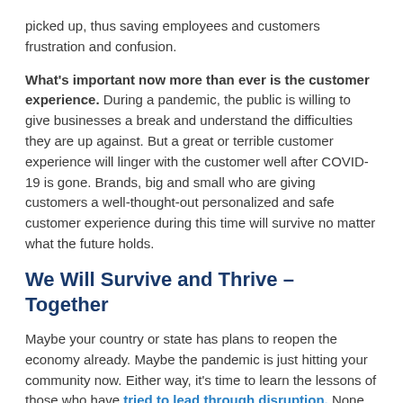picked up, thus saving employees and customers frustration and confusion.
What's important now more than ever is the customer experience. During a pandemic, the public is willing to give businesses a break and understand the difficulties they are up against. But a great or terrible customer experience will linger with the customer well after COVID-19 is gone. Brands, big and small who are giving customers a well-thought-out personalized and safe customer experience during this time will survive no matter what the future holds.
We Will Survive and Thrive – Together
Maybe your country or state has plans to reopen the economy already. Maybe the pandemic is just hitting your community now. Either way, it's time to learn the lessons of those who have tried to lead through disruption. None of us know what the new normal will be, but we can strategize and plan to always keep safety and the customer experience of our